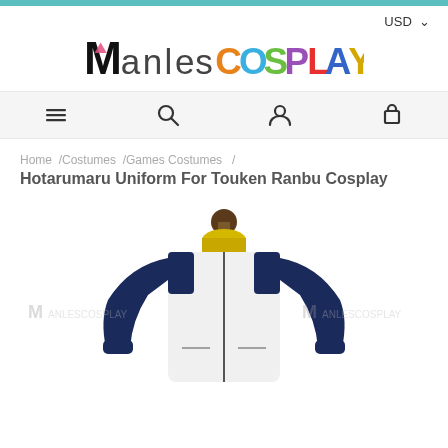USD
[Figure (logo): ManlesCOSPLAY colorful logo with stylized M and multicolor lettering]
[Figure (other): Navigation bar with hamburger menu, search, account, and cart icons]
Home /Costumes /Games Costumes /
Hotarumaru Uniform For Touken Ranbu Cosplay
[Figure (photo): Product photo of a white and navy blue cosplay jacket on a mannequin, with ManlesCosplay watermarks on left and right sides]